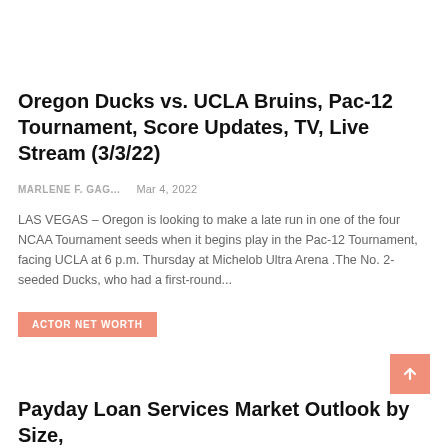Oregon Ducks vs. UCLA Bruins, Pac-12 Tournament, Score Updates, TV, Live Stream (3/3/22)
MARLENE F. GAG...    Mar 4, 2022
LAS VEGAS – Oregon is looking to make a late run in one of the four NCAA Tournament seeds when it begins play in the Pac-12 Tournament, facing UCLA at 6 p.m. Thursday at Michelob Ultra Arena .The No. 2-seeded Ducks, who had a first-round...
ACTOR NET WORTH
Payday Loan Services Market Outlook by Size,